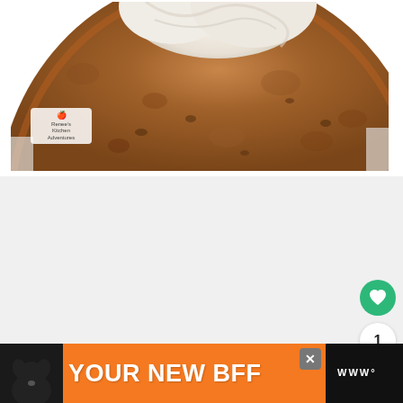[Figure (photo): Close-up photo of a round cake with white frosting/cream cheese topping on a white plate, showing dense moist cake texture. Watermark reads Renee's Kitchen Adventures with a small apple logo.]
[Figure (screenshot): White card area below photo with interactive UI elements: a green circular heart/favorite button, a count of 1, and a share button on the right side.]
[Figure (infographic): Orange advertisement banner at bottom showing a black dog silhouette, bold white text YOUR NEW BFF, a close button, and the Wander logo in black on the right.]